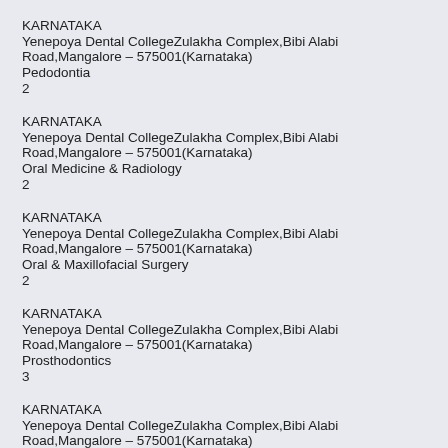KARNATAKA
Yenepoya Dental CollegeZulakha Complex,Bibi Alabi Road,Mangalore – 575001(Karnataka)
Pedodontia
2
KARNATAKA
Yenepoya Dental CollegeZulakha Complex,Bibi Alabi Road,Mangalore – 575001(Karnataka)
Oral Medicine & Radiology
2
KARNATAKA
Yenepoya Dental CollegeZulakha Complex,Bibi Alabi Road,Mangalore – 575001(Karnataka)
Oral & Maxillofacial Surgery
2
KARNATAKA
Yenepoya Dental CollegeZulakha Complex,Bibi Alabi Road,Mangalore – 575001(Karnataka)
Prosthodontics
3
KARNATAKA
Yenepoya Dental CollegeZulakha Complex,Bibi Alabi Road,Mangalore – 575001(Karnataka)
Periodontics
2